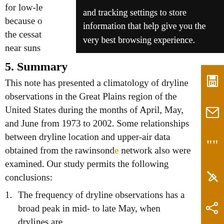for low-le... s, because o... ted by the cessat... y lay near suns...
and tracking settings to store information that help give you the very best browsing experience.
5. Summary
This note has presented a climatology of dryline observations in the Great Plains region of the United States during the months of April, May, and June from 1973 to 2002. Some relationships between dryline location and upper-air data obtained from the rawinsonde network also were examined. Our study permits the following conclusions:
The frequency of dryline observations has a broad peak in mid- to late May, when drylines are